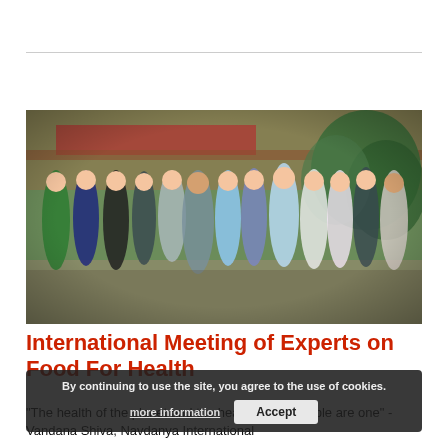[Figure (photo): Group photo of approximately 15 international experts posing outdoors in front of a building with greenery in the background]
International Meeting of Experts on Food For Health
"The health of the planet and the health of the people are one" - Vandana Shiva, Navdanya International